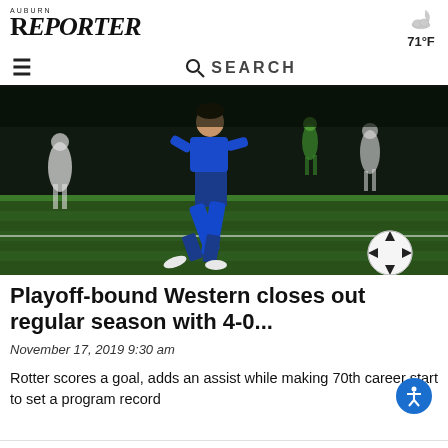AUBURN REPORTER
71°F
≡  🔍 SEARCH
[Figure (photo): Soccer player in blue uniform dribbling a ball on a green turf field at night, with other players in the background.]
Playoff-bound Western closes out regular season with 4-0...
November 17, 2019 9:30 am
Rotter scores a goal, adds an assist while making 70th career start to set a program record